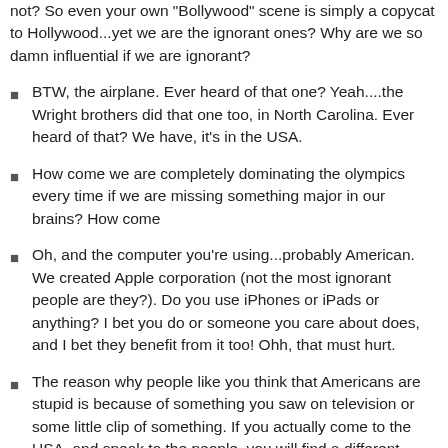not? So even your own 'Bollywood' scene is simply a copycat to Hollywood...yet we are the ignorant ones? Why are we so damn influential if we are ignorant?
BTW, the airplane. Ever heard of that one? Yeah....the Wright brothers did that one too, in North Carolina. Ever heard of that? We have, it's in the USA.
How come we are completely dominating the olympics every time if we are missing something major in our brains? How come
Oh, and the computer you're using...probably American. We created Apple corporation (not the most ignorant people are they?). Do you use iPhones or iPads or anything? I bet you do or someone you care about does, and I bet they benefit from it too! Ohh, that must hurt.
The reason why people like you think that Americans are stupid is because of something you saw on television or some little clip of something. If you actually come to the USA, and speak to the people, you will find a different story.
We know how to build strong communities of happy and